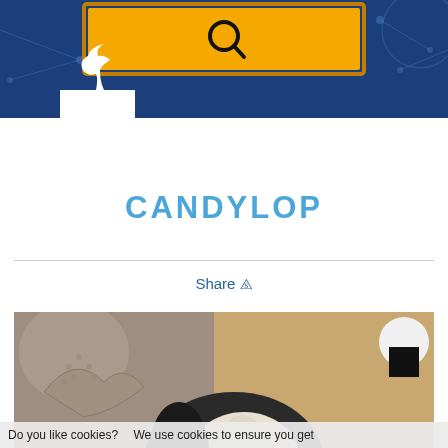[Figure (screenshot): Website header with dark navy background, a yellow/orange search box with magnifying glass icon, network dot-and-line pattern, and a small white bird silhouette on a white rectangle in the lower left.]
CANDYLOP
Share
[Figure (photo): Close-up photo of a black and white dog (possibly a Boston Terrier or similar breed) resting its head near a stuffed animal toy on a soft surface.]
Do you like cookies? We use cookies to ensure you get